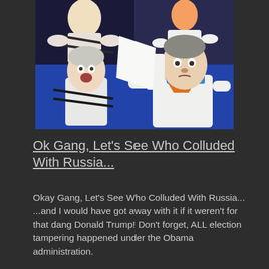[Figure (illustration): A meme image combining Scooby-Doo cartoon characters with real political faces. Hillary Clinton's face is on a cartoon character being held by a figure with Robert Mueller's face, styled as Scooby-Doo characters in white outfits on a blue background.]
Ok Gang, Let's See Who Colluded With Russia...
Okay Gang, Let's See Who Colluded With Russia... ...and I would have got away with it if it weren't for that dang Donald Trump! Don't forget, ALL election tampering happened under the Obama administration.